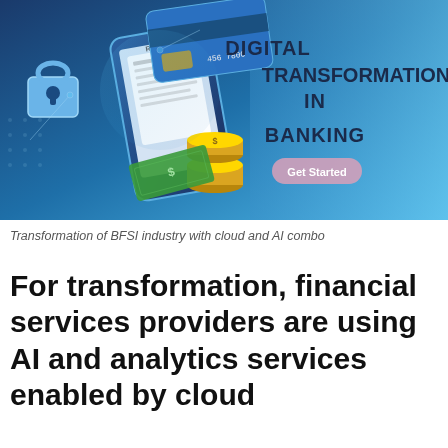[Figure (illustration): Digital transformation in banking banner image showing a smartphone with receipts and credit card, padlock, stacked coins, and cash on a blue gradient background. Text overlay reads 'DIGITAL TRANSFORMATION IN BANKING' with a 'Get Started' button on the right side.]
Transformation of BFSI industry with cloud and AI combo
For transformation, financial services providers are using AI and analytics services enabled by cloud